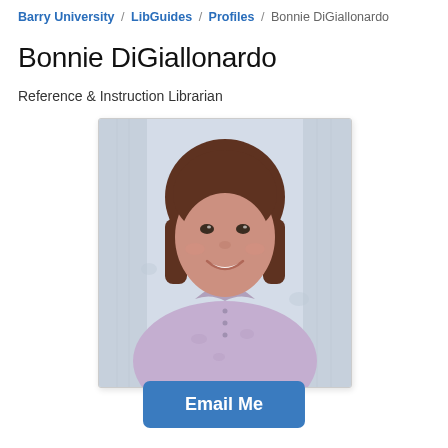Barry University / LibGuides / Profiles / Bonnie DiGiallonardo
Bonnie DiGiallonardo
Reference & Instruction Librarian
[Figure (photo): Professional headshot of Bonnie DiGiallonardo, a woman with a brown bob haircut, smiling, wearing a light purple floral blouse, with a floral curtain background.]
Email Me